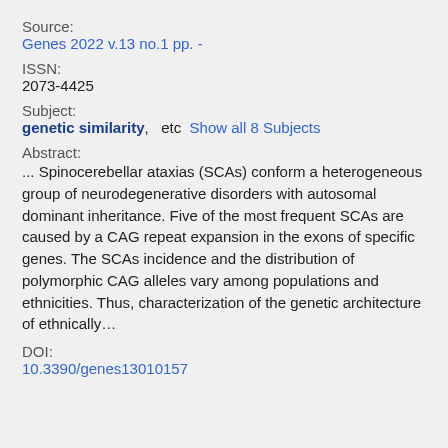Source:
Genes 2022 v.13 no.1 pp. -
ISSN:
2073-4425
Subject:
genetic similarity,  etc  Show all 8 Subjects
Abstract:
... Spinocerebellar ataxias (SCAs) conform a heterogeneous group of neurodegenerative disorders with autosomal dominant inheritance. Five of the most frequent SCAs are caused by a CAG repeat expansion in the exons of specific genes. The SCAs incidence and the distribution of polymorphic CAG alleles vary among populations and ethnicities. Thus, characterization of the genetic architecture of ethnically…
DOI:
10.3390/genes13010157